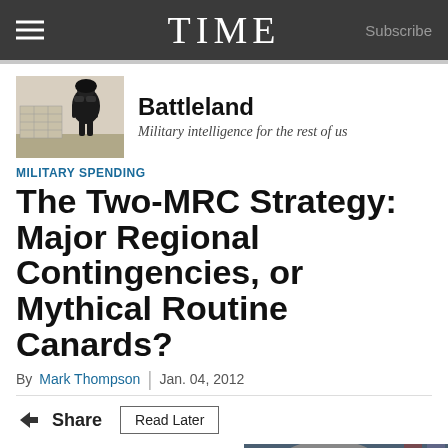TIME  Subscribe
[Figure (illustration): Battleland blog header image: black and white illustration of a soldier with binoculars and military equipment]
Battleland
Military intelligence for the rest of us
MILITARY SPENDING
The Two-MRC Strategy: Major Regional Contingencies, or Mythical Routine Canards?
By Mark Thompson | Jan. 04, 2012
Share  Read Later
Defense Secretary Leon Panetta is coming to the Pentagon podium Thursday
[Figure (photo): Photo of a gray-haired man (Leon Panetta) at a podium with American flags in the background]